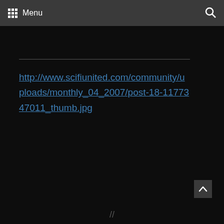Menu
http://www.scifiunited.com/community/uploads/monthly_04_2007/post-18-1177347011_thumb.jpg